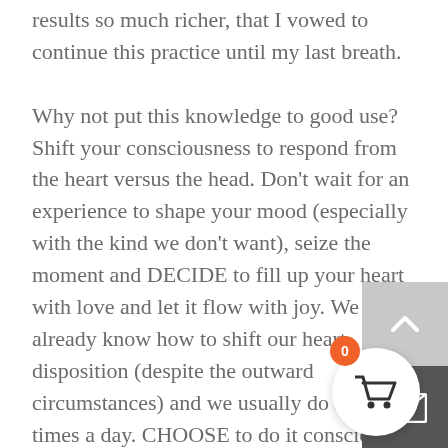results so much richer, that I vowed to continue this practice until my last breath.

Why not put this knowledge to good use? Shift your consciousness to respond from the heart versus the head. Don't wait for an experience to shape your mood (especially with the kind we don't want), seize the moment and DECIDE to fill up your heart with love and let it flow with joy. We already know how to shift our heart disposition (despite the outward circumstances) and we usually do it many times a day. CHOOSE to do it consciously, purposefully, and more often. Like this. Sit back, close your eyes (well, in a minute after instructions), and think about one of the most